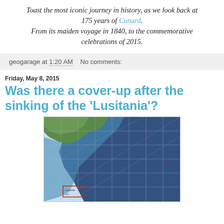Toast the most iconic journey in history, as we look back at 175 years of Cunard. From its maiden voyage in 1840, to the commemorative celebrations of 2015.
geogarage at 1:20 AM   No comments:
Friday, May 8, 2015
Was there a cover-up after the sinking of the 'Lusitania'?
[Figure (map): Nautical chart/map showing coastal area with deep blue ocean water, green land mass in upper left, and navigation grid lines. A red rectangle is visible in the lower left area of the chart, possibly marking the location of the Lusitania wreck.]